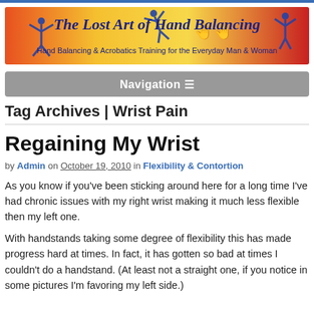[Figure (logo): Banner logo for 'The Lost Art of Hand Balancing' website with orange/red gradient background, blue acrobatic figure silhouettes, blue hand icons, and subtitle 'Hand Balancing & Acrobatics Training for the Everyday Man & Woman']
Navigation
Tag Archives | Wrist Pain
Regaining My Wrist
by Admin on October 19, 2010 in Flexibility & Contortion
As you know if you've been sticking around here for a long time I've had chronic issues with my right wrist making it much less flexible then my left one.
With handstands taking some degree of flexibility this has made progress hard at times. In fact, it has gotten so bad at times I couldn't do a handstand. (At least not a straight one, if you notice in some pictures I'm favoring my left side.)